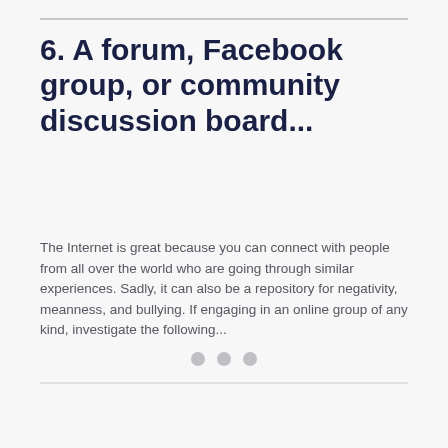6. A forum, Facebook group, or community discussion board...
The Internet is great because you can connect with people from all over the world who are going through similar experiences.  Sadly, it can also be a repository for negativity, meanness, and bullying.  If engaging in an online group of any kind, investigate the following...
[Figure (other): Blank placeholder image area below the text block]